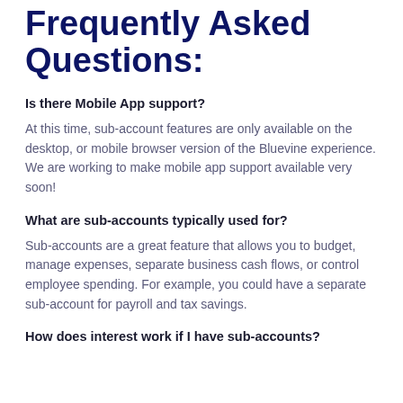Frequently Asked Questions:
Is there Mobile App support?
At this time, sub-account features are only available on the desktop, or mobile browser version of the Bluevine experience. We are working to make mobile app support available very soon!
What are sub-accounts typically used for?
Sub-accounts are a great feature that allows you to budget, manage expenses, separate business cash flows, or control employee spending. For example, you could have a separate sub-account for payroll and tax savings.
How does interest work if I have sub-accounts?